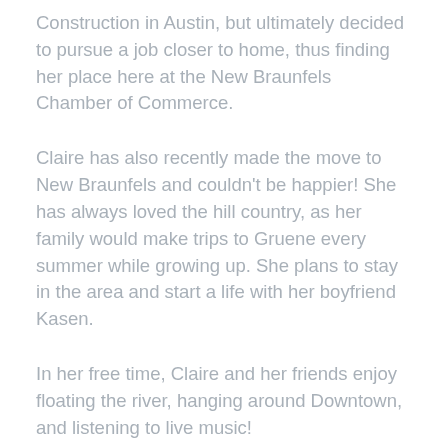Construction in Austin, but ultimately decided to pursue a job closer to home, thus finding her place here at the New Braunfels Chamber of Commerce.
Claire has also recently made the move to New Braunfels and couldn't be happier! She has always loved the hill country, as her family would make trips to Gruene every summer while growing up. She plans to stay in the area and start a life with her boyfriend Kasen.
In her free time, Claire and her friends enjoy floating the river, hanging around Downtown, and listening to live music!
Fun Facts: